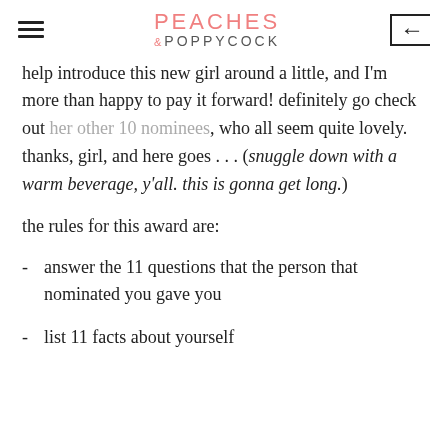PEACHES & POPPYCOCK
help introduce this new girl around a little, and I'm more than happy to pay it forward! definitely go check out her other 10 nominees, who all seem quite lovely. thanks, girl, and here goes . . . (snuggle down with a warm beverage, y'all. this is gonna get long.)
the rules for this award are:
answer the 11 questions that the person that nominated you gave you
list 11 facts about yourself